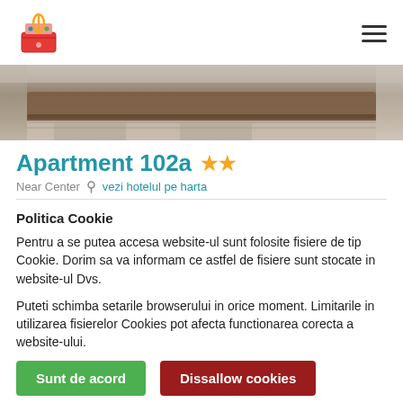logo and hamburger menu
[Figure (photo): Close-up of hotel bed with wooden headboard and patterned bedding]
Apartment 102a ★★
Near Center  vezi hotelul pe harta
CAZARE
de la
143 Lei RON
pentru 2 adulti
Politica Cookie
Pentru a se putea accesa website-ul sunt folosite fisiere de tip Cookie. Dorim sa va informam ce astfel de fisiere sunt stocate in website-ul Dvs.
Puteti schimba setarile browserului in orice moment. Limitarile in utilizarea fisierelor Cookies pot afecta functionarea corecta a website-ului.
Sunt de acord  Dissallow cookies